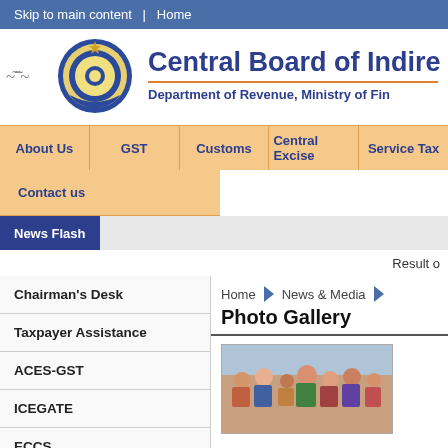Skip to main content | Home
Central Board of Indire
Department of Revenue, Ministry of Fin
About Us
GST
Customs
Central Excise
Service Tax
Contact us
News Flash
Result o
Home  News & Media
Photo Gallery
Chairman's Desk
Taxpayer Assistance
ACES-GST
ICEGATE
ECCS
[Figure (photo): Group of people at an event, photo gallery thumbnail]